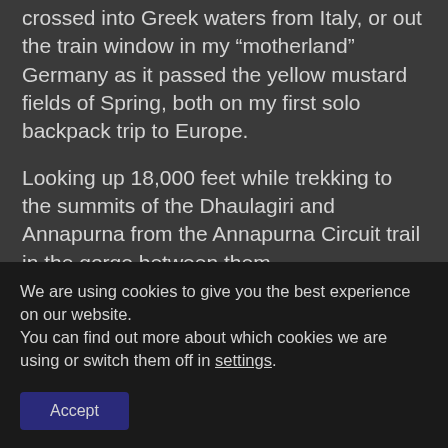crossed into Greek waters from Italy, or out the train window in my “motherland” Germany as it passed the yellow mustard fields of Spring, both on my first solo backpack trip to Europe.
Looking up 18,000 feet while trekking to the summits of the Dhaulagiri and Annapurna from the Annapurna Circuit trail in the gorge between them.
Or, overlooking a burning pyre at night on the banks of the Ganges in Varanasi
We are using cookies to give you the best experience on our website.
You can find out more about which cookies we are using or switch them off in settings.
Accept